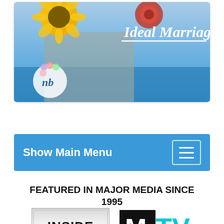[Figure (screenshot): Banner image with sunflowers, wedding/marriage theme. Text reads 'Ideal Marriage' in cursive script on blue background. Small logo 'nb' with flower decoration in lower left.]
Show Main Menu
FEATURED IN MAJOR MEDIA SINCE 1995
[Figure (logo): Inside Edition logo - black and silver with red 'edition' text]
[Figure (logo): MTV Music Television logo - black with cyan TV letters]
[Figure (logo): Discovery logo - black text with globe icon]